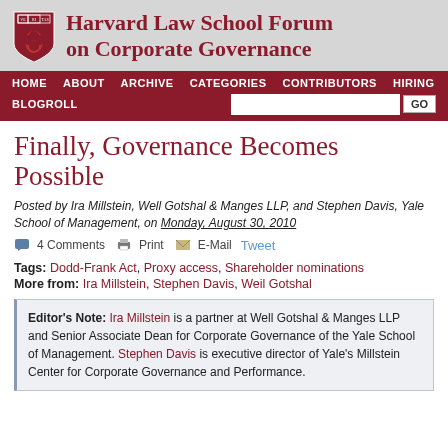Harvard Law School Forum on Corporate Governance
HOME ABOUT ARCHIVE CATEGORIES CONTRIBUTORS HIRING BLOGROLL
Finally, Governance Becomes Possible
Posted by Ira Millstein, Well Gotshal & Manges LLP, and Stephen Davis, Yale School of Management, on Monday, August 30, 2010
4 Comments  Print  E-Mail  Tweet
Tags: Dodd-Frank Act, Proxy access, Shareholder nominations
More from: Ira Millstein, Stephen Davis, Weil Gotshal
Editor's Note: Ira Millstein is a partner at Well Gotshal & Manges LLP and Senior Associate Dean for Corporate Governance of the Yale School of Management. Stephen Davis is executive director of Yale's Millstein Center for Corporate Governance and Performance.